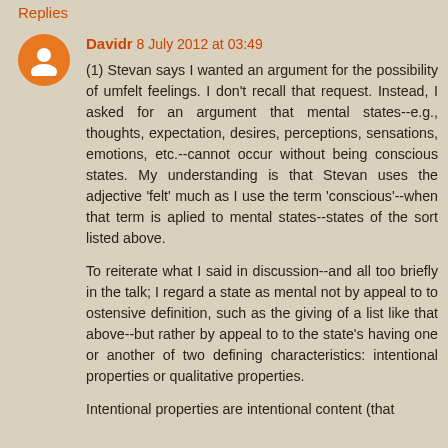Replies
Davidr 8 July 2012 at 03:49
(1) Stevan says I wanted an argument for the possibility of umfelt feelings. I don't recall that request. Instead, I asked for an argument that mental states--e.g., thoughts, expectation, desires, perceptions, sensations, emotions, etc.--cannot occur without being conscious states. My understanding is that Stevan uses the adjective 'felt' much as I use the term 'conscious'--when that term is aplied to mental states--states of the sort listed above.
To reiterate what I said in discussion--and all too briefly in the talk; I regard a state as mental not by appeal to to ostensive definition, such as the giving of a list like that above--but rather by appeal to to the state's having one or another of two defining characteristics: intentional properties or qualitative properties.
Intentional properties are intentional content (that